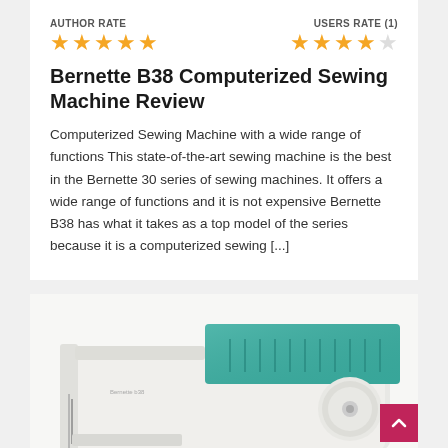AUTHOR RATE
USERS RATE (1)
Bernette B38 Computerized Sewing Machine Review
Computerized Sewing Machine with a wide range of functions This state-of-the-art sewing machine is the best in the Bernette 30 series of sewing machines. It offers a wide range of functions and it is not expensive Bernette B38 has what it takes as a top model of the series because it is a computerized sewing [...]
[Figure (photo): Photo of a Bernette B38 computerized sewing machine, white body with teal/green accent panel, partially visible at bottom of page]